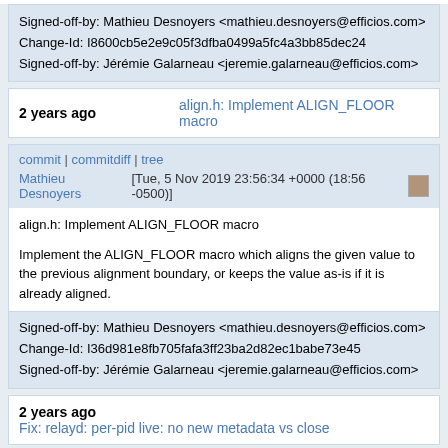Signed-off-by: Mathieu Desnoyers <mathieu.desnoyers@efficios.com>
Change-Id: I8600cb5e2e9c05f3dfba0499a5fc4a3bb85dec24
Signed-off-by: Jérémie Galarneau <jeremie.galarneau@efficios.com>
2 years ago	align.h: Implement ALIGN_FLOOR macro
commit | commitdiff | tree
Mathieu Desnoyers [Tue, 5 Nov 2019 23:56:34 +0000 (18:56 -0500)]
align.h: Implement ALIGN_FLOOR macro

Implement the ALIGN_FLOOR macro which aligns the given value to the previous alignment boundary, or keeps the value as-is if it is already aligned.

Signed-off-by: Mathieu Desnoyers <mathieu.desnoyers@efficios.com>
Change-Id: I36d981e8fb705fafa3ff23ba2d82ec1babe73e45
Signed-off-by: Jérémie Galarneau <jeremie.galarneau@efficios.com>
2 years ago	Fix: relayd: per-pid live: no new metadata vs close